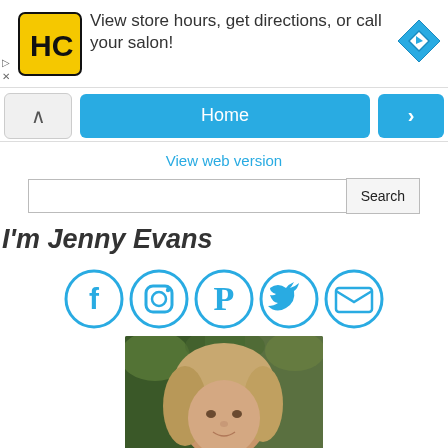[Figure (screenshot): Advertisement banner with HC logo (yellow square), text 'View store hours, get directions, or call your salon!', and a blue directions diamond icon. Small play and close icons on left.]
[Figure (screenshot): Mobile navigation bar with back chevron button, blue Home button, and blue forward arrow button]
View web version
[Figure (screenshot): Search input field with Search button]
I'm Jenny Evans
[Figure (infographic): Five social media icons in blue circles: Facebook, Instagram, Pinterest, Twitter, Email]
[Figure (photo): Portrait photo of a blonde woman smiling outdoors with green foliage background]